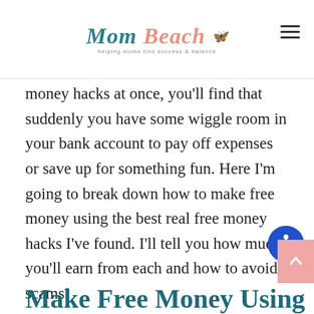Mom Beach — helping moms find success & balance
money hacks at once, you'll find that suddenly you have some wiggle room in your bank account to pay off expenses or save up for something fun. Here I'm going to break down how to make free money using the best real free money hacks I've found. I'll tell you how much you'll earn from each and how to avoid scams!
Let's learn how to make free money!
Make Free Money Using